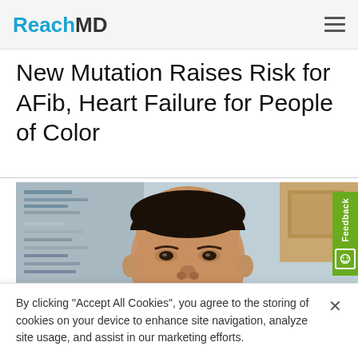ReachMD
New Mutation Raises Risk for AFib, Heart Failure for People of Color
[Figure (photo): Portrait photo of a male physician/researcher wearing a white dress shirt and patterned tie, smiling, seated in an office environment with papers and bookshelves visible in the background.]
By clicking "Accept All Cookies", you agree to the storing of cookies on your device to enhance site navigation, analyze site usage, and assist in our marketing efforts.